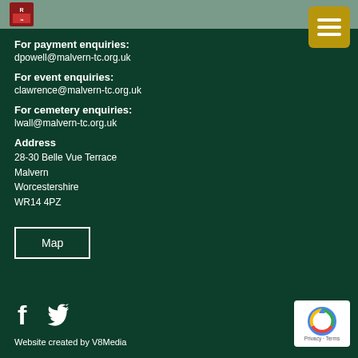[Figure (logo): Malvern Town Council logo in top left header area]
[Figure (other): Gold/yellow hamburger menu button in top right corner]
For payment enquiries:
dpowell@malvern-tc.org.uk
For event enquiries:
clawrence@malvern-tc.org.uk
For cemetery enquiries:
lwall@malvern-tc.org.uk
Address
28-30 Belle Vue Terrace
Malvern
Worcestershire
WR14 4PZ
Map
[Figure (other): Facebook and Twitter social media icons in white]
Website created by V8Media
[Figure (other): Google reCAPTCHA badge showing Privacy and Terms]